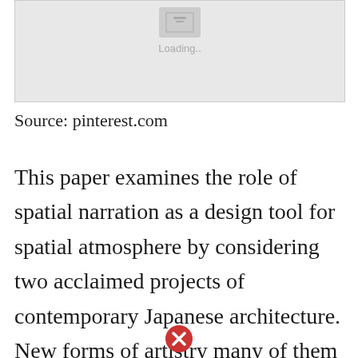[Figure (other): Image loading placeholder with grey background and loading indicator icon with text 'Loading..']
Source: pinterest.com
This paper examines the role of spatial narration as a design tool for spatial atmosphere by considering two acclaimed projects of contemporary Japanese architecture. New forms of artistry many of them influenced by Chinese art and architecture began to take hold and shape